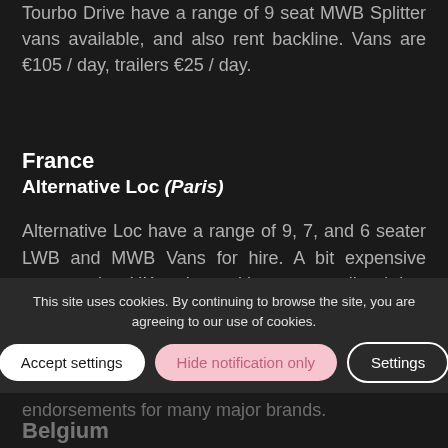Tourbo Drive have a range of 9 seat MWB Splitter vans available, and also rent backline. Vans are €105 / day, trailers €25 / day.
France
Alternative Loc (Paris)
Alternative Loc have a range of 9, 7, and 6 seater LWB and MWB Vans for hire. A bit expensive compared to UK options with caps on miles / day, but are lovely vans and very nice folks to deal with. Alternative loc also do backline and cover endorsements for many major brands.
This site uses cookies. By continuing to browse the site, you are agreeing to our use of cookies.
Belgium